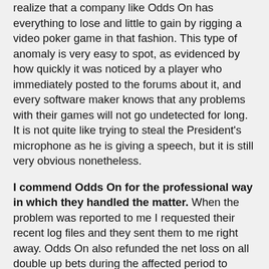realize that a company like Odds On has everything to lose and little to gain by rigging a video poker game in that fashion. This type of anomaly is very easy to spot, as evidenced by how quickly it was noticed by a player who immediately posted to the forums about it, and every software maker knows that any problems with their games will not go undetected for long. It is not quite like trying to steal the President's microphone as he is giving a speech, but it is still very obvious nonetheless.
I commend Odds On for the professional way in which they handled the matter. When the problem was reported to me I requested their recent log files and they sent them to me right away. Odds On also refunded the net loss on all double up bets during the affected period to players, plus paid them an additional 20%.
After this incident I have decided to leave the casino auditing business. It is for a combination of reasons, mainly that I am spread too thin at the moment and would like to